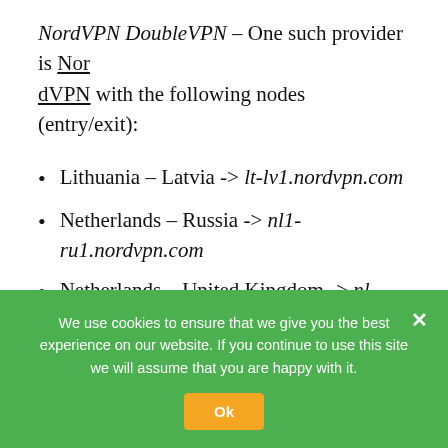NordVPN DoubleVPN – One such provider is NordVPN with the following nodes (entry/exit):
Lithuania – Latvia -> lt-lv1.nordvpn.com
Netherlands – Russia -> nl1-ru1.nordvpn.com
Netherlands – United Kingdom -> nl-uk1.nordvpn.com
Russia – Netherlands -> ru-nl1.nordvpn.com
We use cookies to ensure that we give you the best experience on our website. If you continue to use this site we will assume that you are happy with it.